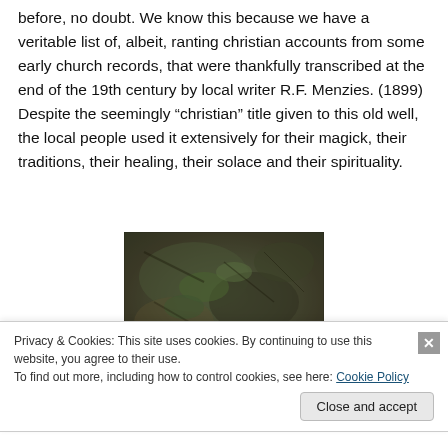before, no doubt. We know this because we have a veritable list of, albeit, ranting christian accounts from some early church records, that were thankfully transcribed at the end of the 19th century by local writer R.F. Menzies. (1899)  Despite the seemingly “christian” title given to this old well, the local people used it extensively for their magick, their traditions, their healing, their solace and their spirituality.
[Figure (photo): A dark, mossy stone surface, possibly the interior or top of an old well, with earthy tones of dark green, grey, and brown. Appears to show stone or rock texture with some greenery.]
Privacy & Cookies: This site uses cookies. By continuing to use this website, you agree to their use.
To find out more, including how to control cookies, see here: Cookie Policy
Close and accept